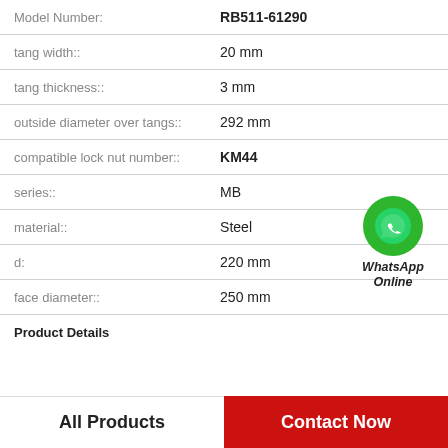| Property | Value |
| --- | --- |
| Model Number: | RB511-61290 |
| tang width:: | 20 mm |
| tang thickness:: | 3 mm |
| outside diameter over tangs:: | 292 mm |
| compatible lock nut number:: | KM44 |
| series:: | MB |
| material:: | Steel |
| d: | 220 mm |
| face diameter:: | 250 mm |
[Figure (logo): WhatsApp Online green phone icon badge with text 'WhatsApp Online' in bold italic]
Product Details
All Products
Contact Now